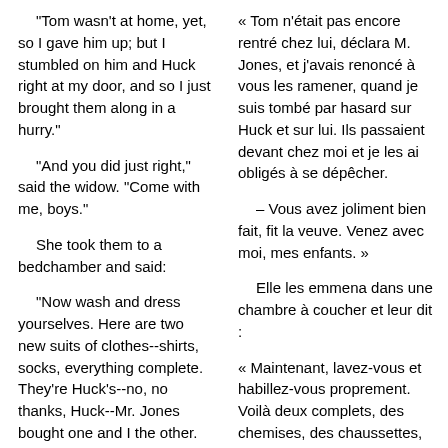"Tom wasn't at home, yet, so I gave him up; but I stumbled on him and Huck right at my door, and so I just brought them along in a hurry."
« Tom n'était pas encore rentré chez lui, déclara M. Jones, et j'avais renoncé à vous les ramener, quand je suis tombé par hasard sur Huck et sur lui. Ils passaient devant chez moi et je les ai obligés à se dépêcher.
"And you did just right," said the widow. "Come with me, boys."
– Vous avez joliment bien fait, fit la veuve. Venez avec moi, mes enfants. »
She took them to a bedchamber and said:
Elle les emmena dans une chambre à coucher et leur dit :
"Now wash and dress yourselves. Here are two new suits of clothes--shirts, socks, everything complete. They're Huck's--no, no thanks, Huck--Mr. Jones bought one and I the other. But they'll fit both of you.
« Maintenant, lavez-vous et habillez-vous proprement. Voilà deux complets, des chemises, des chaussettes, tout ce qu'il faut. C'est à Huck… Non, non, Huck. Pas de remerciements. C'est un